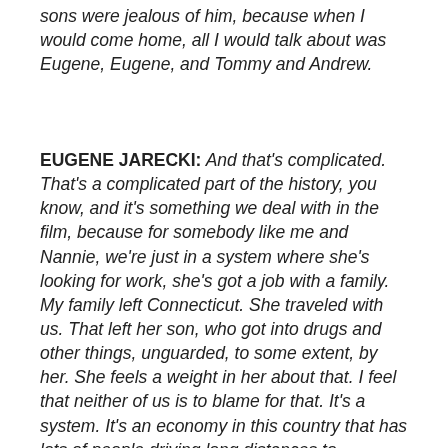sons were jealous of him, because when I would come home, all I would talk about was Eugene, Eugene, and Tommy and Andrew.
EUGENE JARECKI: And that's complicated. That's a complicated part of the history, you know, and it's something we deal with in the film, because for somebody like me and Nannie, we're just in a system where she's looking for work, she's got a job with a family. My family left Connecticut. She traveled with us. That left her son, who got into drugs and other things, unguarded, to some extent, by her. She feels a weight in her about that. I feel that neither of us is to blame for that. It's a system. It's an economy in this country that has lots of people driving long distances to